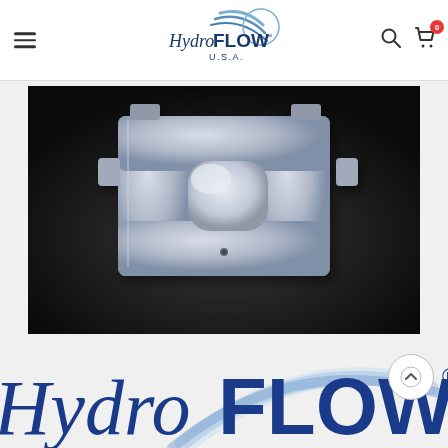[Figure (logo): HydroFLOW U.S.A. logo in header with swoosh graphic]
[Figure (photo): Industrial grey pipe clamp / HydroFLOW device on dark gradient background]
[Figure (logo): Large HydroFLOW logo at bottom of page, partially cropped]